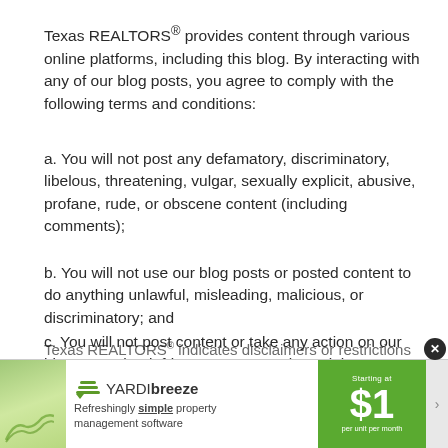Texas REALTORS® provides content through various online platforms, including this blog. By interacting with any of our blog posts, you agree to comply with the following terms and conditions:
a. You will not post any defamatory, discriminatory, libelous, threatening, vulgar, sexually explicit, abusive, profane, rude, or obscene content (including comments);
b. You will not use our blog posts or posted content to do anything unlawful, misleading, malicious, or discriminatory; and
c. You will not post content or take any action on our blog posts that infringes someone else's rights or otherwise violates the law.
d. You will not post any information intended to sell or advertise a business, product, or service.
[Figure (other): Yardi Breeze advertisement banner: 'Refreshingly simple property management software. Starting at $1 per unit per month']